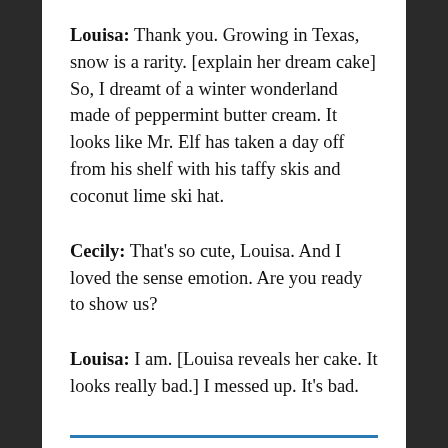Louisa: Thank you. Growing in Texas, snow is a rarity. [explain her dream cake] So, I dreamt of a winter wonderland made of peppermint butter cream. It looks like Mr. Elf has taken a day off from his shelf with his taffy skis and coconut lime ski hat.
Cecily: That's so cute, Louisa. And I loved the sense emotion. Are you ready to show us?
Louisa: I am. [Louisa reveals her cake. It looks really bad.] I messed up. It's bad.